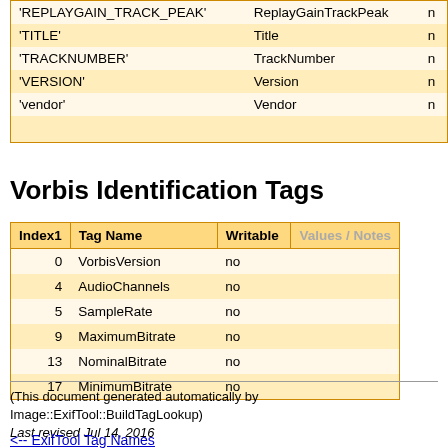|  | Tag Name / Writable | Values / Notes |
| --- | --- | --- |
| 'REPLAYGAIN_TRACK_PEAK' | ReplayGainTrackPeak | n |
| 'TITLE' | Title | n |
| 'TRACKNUMBER' | TrackNumber | n |
| 'VERSION' | Version | n |
| 'vendor' | Vendor | n |
Vorbis Identification Tags
| Index1 | Tag Name | Writable | Values / Notes |
| --- | --- | --- | --- |
| 0 | VorbisVersion | no |  |
| 4 | AudioChannels | no |  |
| 5 | SampleRate | no |  |
| 9 | MaximumBitrate | no |  |
| 13 | NominalBitrate | no |  |
| 17 | MinimumBitrate | no |  |
(This document generated automatically by Image::ExifTool::BuildTagLookup)
Last revised Jul 14, 2016
<-- ExifTool Tag Names